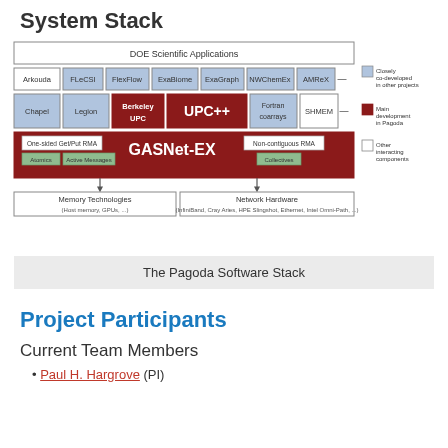System Stack
[Figure (engineering-diagram): The Pagoda Software Stack diagram showing layers: DOE Scientific Applications at top, then application boxes (Arkouda, FLeCSI, FlexFlow, ExaBiome, ExaGraph, NWChemEx, AMReX), then language/runtime boxes (Chapel, Legion, Berkeley UPC, UPC++, Fortran coarrays, SHMEM), then GASNet-EX layer with One-sided Get/Put RMA, Atomics, Active Messages, Non-contiguous RMA, Collectives, then Memory Technologies and Network Hardware at bottom. Legend shows: blue=Closely co-developed in other projects, dark red=Main development in Pagoda, white=Other interacting components.]
The Pagoda Software Stack
Project Participants
Current Team Members
Paul H. Hargrove (PI)